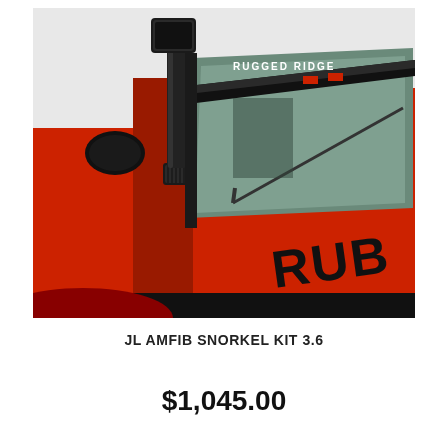[Figure (photo): A red Jeep Wrangler Rubicon with a black snorkel kit installed on the driver's side, showing the snorkel running up the A-pillar and a RUGGED RIDGE branded windshield banner. The hood is open slightly and the vehicle is photographed from a front three-quarter angle.]
JL AMFIB SNORKEL KIT 3.6
$1,045.00